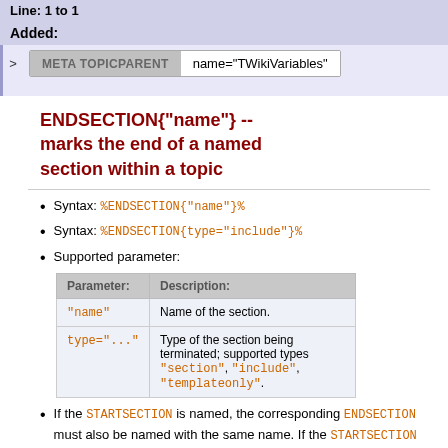Line: 1 to 1
Added:
META TOPICPARENT  name="TWikiVariables"
ENDSECTION{"name"} -- marks the end of a named section within a topic
Syntax: %ENDSECTION{"name"}%
Syntax: %ENDSECTION{type="include"}%
Supported parameter:
| Parameter: | Description: |
| --- | --- |
| "name" | Name of the section. |
| type="..." | Type of the section being terminated; supported types "section", "include", "templateonly". |
If the STARTSECTION is named, the corresponding ENDSECTION must also be named with the same name. If the STARTSECTION specifies a type, then the